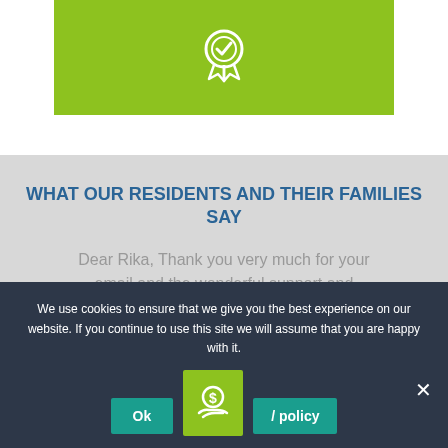[Figure (illustration): Green banner with a white award/ribbon badge icon centered on it]
WHAT OUR RESIDENTS AND THEIR FAMILIES SAY
Dear Rika, Thank you very much for your email and the wonderful support and
We use cookies to ensure that we give you the best experience on our website. If you continue to use this site we will assume that you are happy with it.